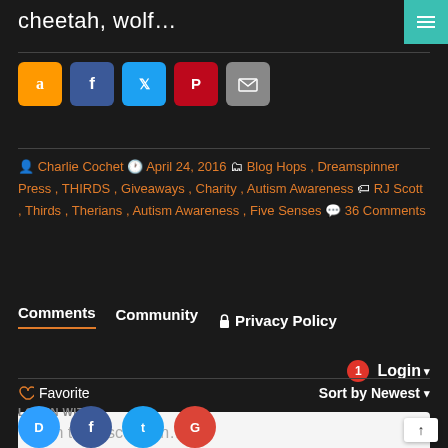cheetah, wolf…
[Figure (infographic): Social sharing icons: Amazon (orange), Facebook (blue), Twitter (light blue), Pinterest (red), Email (grey)]
Charlie Cochet  April 24, 2016  Blog Hops , Dreamspinner Press , THIRDS , Giveaways , Charity , Autism Awareness  RJ Scott , Thirds , Therians , Autism Awareness , Five Senses  36 Comments
Comments  Community  Privacy Policy
1  Login ▾
♡ Favorite  Sort by Newest ▾
Join the discussion…
LOG IN WITH
[Figure (infographic): Social login icons: Disqus (blue circle), Facebook (blue circle), Twitter (light blue circle), Google (red circle)]